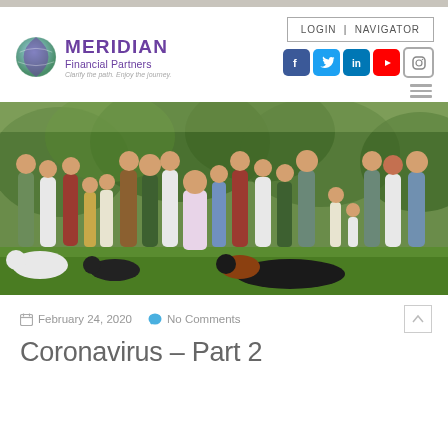[Figure (logo): Meridian Financial Partners logo with globe icon, tagline: Clarify the path. Enjoy the journey.]
[Figure (screenshot): Navigation header with LOGIN | NAVIGATOR button and social media icons (Facebook, Twitter, LinkedIn, YouTube, Instagram), plus hamburger menu]
[Figure (photo): Group photo of Meridian Financial Partners team and families outdoors on grass with trees in background, including adults, children, and dogs]
February 24, 2020   No Comments
Coronavirus – Part 2